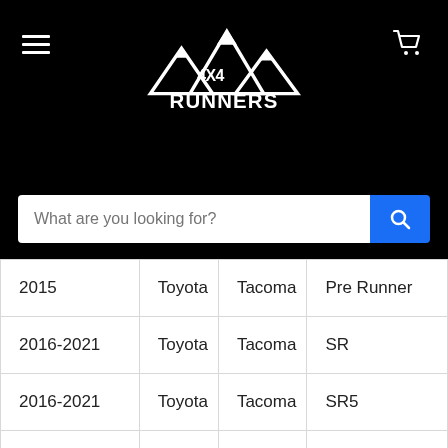4x4 Runners - website header with logo, hamburger menu, cart icon, and search bar
| 2015 | Toyota | Tacoma | Pre Runner |
| 2016-2021 | Toyota | Tacoma | SR |
| 2016-2021 | Toyota | Tacoma | SR5 |
| 2021 | Toyota | Tacoma | Trail |
| 2016-2021 | Toyota | Tacoma | TRD Taoma |
| 2015 2017-2021 | Toyota | Tacoma | TRD Pro |